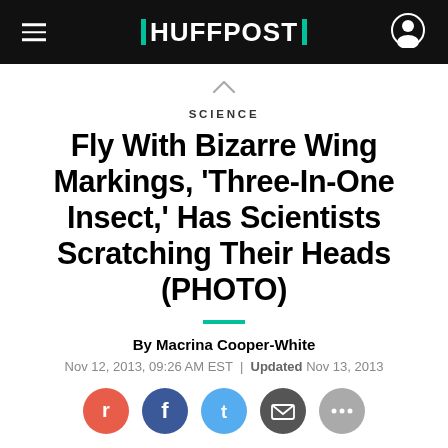HUFFPOST
SCIENCE
Fly With Bizarre Wing Markings, 'Three-In-One Insect,' Has Scientists Scratching Their Heads (PHOTO)
By Macrina Cooper-White
Nov 12, 2013, 09:26 AM EST | Updated Nov 13, 2013
[Figure (other): Social sharing icons: Reddit (red), Facebook (blue), Twitter (light blue), Email (dark gray), another (gray)]